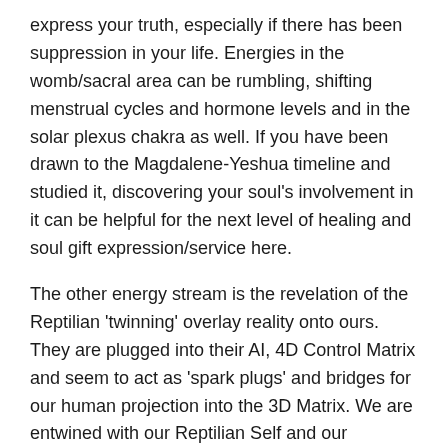express your truth, especially if there has been suppression in your life. Energies in the womb/sacral area can be rumbling, shifting menstrual cycles and hormone levels and in the solar plexus chakra as well. If you have been drawn to the Magdalene-Yeshua timeline and studied it, discovering your soul's involvement in it can be helpful for the next level of healing and soul gift expression/service here.
The other energy stream is the revelation of the Reptilian 'twinning' overlay reality onto ours. They are plugged into their AI, 4D Control Matrix and seem to act as 'spark plugs' and bridges for our human projection into the 3D Matrix. We are entwined with our Reptilian Self and our Ascension/liberation is intimately connected to theirs. The next step in this ambassadorship process can be to connect with your Reptilian Self directly, which I offer in guided meditation here:
https://youtu.be/pA7ZiZi2K8M